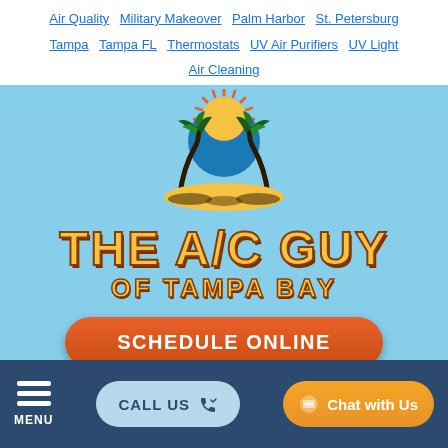Air Quality | Military Makeover | Palm Harbor | St. Petersburg | Tampa | Tampa FL | Thermostats | UV Air Purifiers | UV Light Air Cleaning
[Figure (logo): The A/C Guy of Tampa Bay logo: tropical scene with sun, palm trees, and ocean on a yellow base]
THE A/C GUY OF TAMPA BAY
SCHEDULE ONLINE
MENU
CALL US
Chat with Us